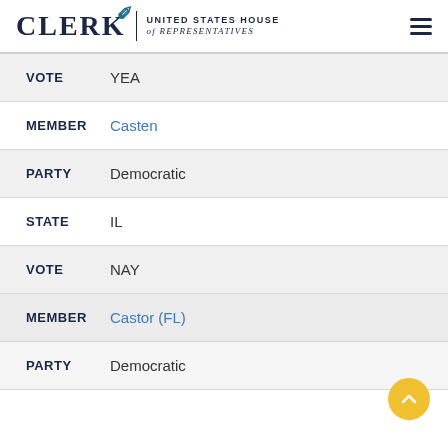CLERK UNITED STATES HOUSE of REPRESENTATIVES
VOTE  YEA
MEMBER  Casten
PARTY  Democratic
STATE  IL
VOTE  NAY
MEMBER  Castor (FL)
PARTY  Democratic